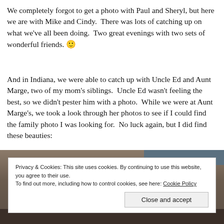We completely forgot to get a photo with Paul and Sheryl, but here we are with Mike and Cindy.  There was lots of catching up on what we've all been doing.  Two great evenings with two sets of wonderful friends. 🙂
And in Indiana, we were able to catch up with Uncle Ed and Aunt Marge, two of my mom's siblings.  Uncle Ed wasn't feeling the best, so we didn't pester him with a photo.  While we were at Aunt Marge's, we took a look through her photos to see if I could find the family photo I was looking for.  No luck again, but I did find these beauties:
[Figure (photo): Partial view of a photograph, partially obscured by a cookie consent banner]
Privacy & Cookies: This site uses cookies. By continuing to use this website, you agree to their use.
To find out more, including how to control cookies, see here: Cookie Policy
Close and accept